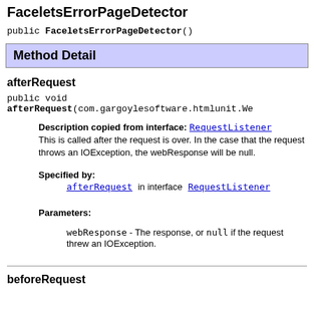FaceletsErrorPageDetector
public FaceletsErrorPageDetector()
Method Detail
afterRequest
public void afterRequest(com.gargoylesoftware.htmlunit.We
Description copied from interface: RequestListener
This is called after the request is over. In the case that the request throws an IOException, the webResponse will be null.
Specified by:
afterRequest in interface RequestListener
Parameters:
webResponse - The response, or null if the request threw an IOException.
beforeRequest